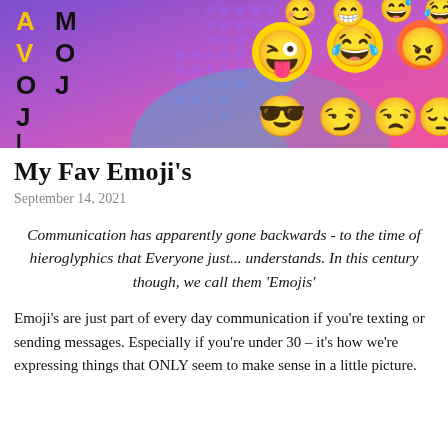[Figure (illustration): Colorful banner image with emoji faces on a purple/pink gradient background, with the text 'AVOJI' visible on the left side in black and yellow letters]
My Fav Emoji's
September 14, 2021
Communication has apparently gone backwards - to the time of hieroglyphics that Everyone just... understands. In this century though, we call them 'Emojis'
Emoji's are just part of every day communication if you're texting or sending messages. Especially if you're under 30 – it's how we're expressing things that ONLY seem to make sense in a little picture.